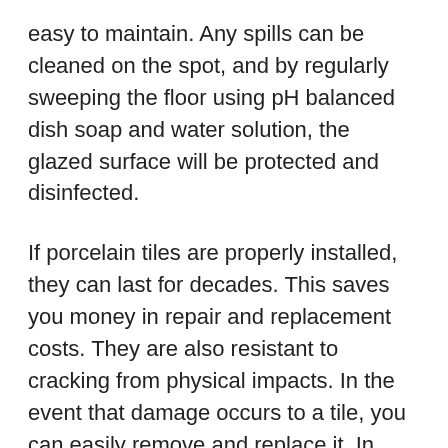easy to maintain. Any spills can be cleaned on the spot, and by regularly sweeping the floor using pH balanced dish soap and water solution, the glazed surface will be protected and disinfected.
If porcelain tiles are properly installed, they can last for decades. This saves you money in repair and replacement costs. They are also resistant to cracking from physical impacts. In the event that damage occurs to a tile, you can easily remove and replace it. In areas of high traffic, these tiles are an ideal choice as they are more durable than most other tiles and tend to maintain their new appearance.